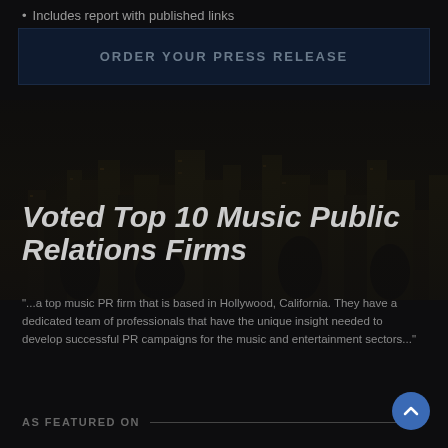Includes report with published links
ORDER YOUR PRESS RELEASE
[Figure (photo): Dark nighttime cityscape background image showing city lights and buildings]
Voted Top 10 Music Public Relations Firms
"...a top music PR firm that is based in Hollywood, California. They have a dedicated team of professionals that have the unique insight needed to develop successful PR campaigns for the music and entertainment sectors..."
AS FEATURED ON